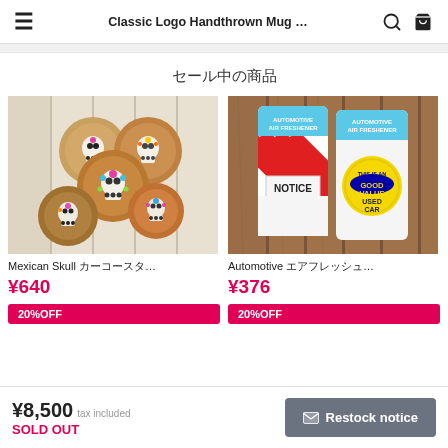Classic Logo Handthrown Mug ...
セール中の商品
[Figure (photo): Mexican skull car coasters on white wooden surface]
Mexican Skull カーコースタ...
¥640
20%OFF
[Figure (photo): Automotive air freshener packages on wooden surface]
Automotive エアフレッシュ...
¥376
20%OFF
¥8,500 tax included
SOLD OUT
✉ Restock notice